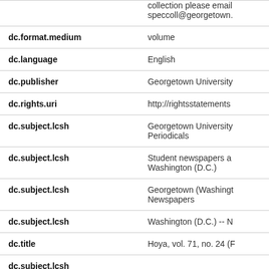| Field | Value |
| --- | --- |
|  | collection please email speccoll@georgetown. |
| dc.format.medium | volume |
| dc.language | English |
| dc.publisher | Georgetown University |
| dc.rights.uri | http://rightsstatements |
| dc.subject.lcsh | Georgetown University
Periodicals |
| dc.subject.lcsh | Student newspapers a
Washington (D.C.) |
| dc.subject.lcsh | Georgetown (Washingt
Newspapers |
| dc.subject.lcsh | Washington (D.C.) -- N |
| dc.title | Hoya, vol. 71, no. 24 (F |
| dc.subject.lcsh |  |